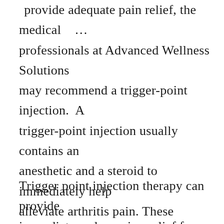... provide adequate pain relief, the medical professionals at Advanced Wellness Solutions may recommend a trigger-point injection. A trigger-point injection usually contains an anesthetic and a steroid to immediately help alleviate arthritis pain. These injections are rarely a standalone treatment. They work best when combined with other conservative treatment methods such as chiropractic care.
Trigger point injection therapy can provide immediate and ongoing relief from pain in the...